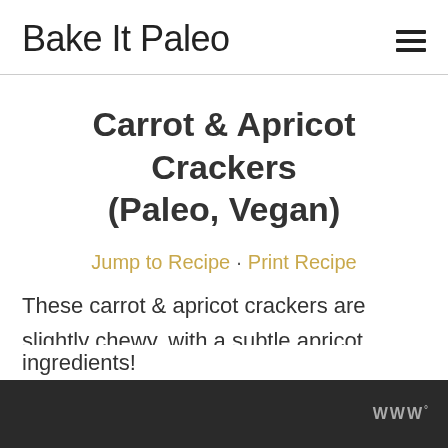Bake It Paleo
Carrot & Apricot Crackers (Paleo, Vegan)
Jump to Recipe · Print Recipe
These carrot & apricot crackers are slightly chewy, with a subtle apricot flavor. They're made with dried apricots, fresh carrots, nuts and coconut. This healthy cracker recipe is Paleo, Vegan and only 5 ingredients!